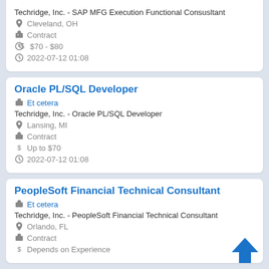Techridge, Inc. - SAP MFG Execution Functional Consusltant
Cleveland, OH
Contract
$70 - $80
2022-07-12 01:08
Oracle PL/SQL Developer
Et cetera
Techridge, Inc. - Oracle PL/SQL Developer
Lansing, MI
Contract
Up to $70
2022-07-12 01:08
PeopleSoft Financial Technical Consultant
Et cetera
Techridge, Inc. - PeopleSoft Financial Technical Consultant
Orlando, FL
Contract
Depends on Experience